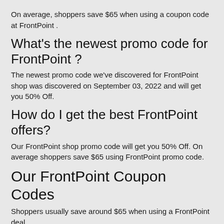On average, shoppers save $65 when using a coupon code at FrontPoint .
What's the newest promo code for FrontPoint ?
The newest promo code we've discovered for FrontPoint shop was discovered on September 03, 2022 and will get you 50% Off.
How do I get the best FrontPoint offers?
Our FrontPoint shop promo code will get you 50% Off. On average shoppers save $65 using FrontPoint promo code.
Our FrontPoint Coupon Codes
Shoppers usually save around $65 when using a FrontPoint deal.
Shopping at FrontPoint ? On our page you will find total 70 discount codes that will help you save. Our top FrontPoint deal is 50% Off.